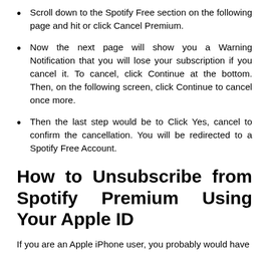Scroll down to the Spotify Free section on the following page and hit or click Cancel Premium.
Now the next page will show you a Warning Notification that you will lose your subscription if you cancel it. To cancel, click Continue at the bottom. Then, on the following screen, click Continue to cancel once more.
Then the last step would be to Click Yes, cancel to confirm the cancellation. You will be redirected to a Spotify Free Account.
How to Unsubscribe from Spotify Premium Using Your Apple ID
If you are an Apple iPhone user, you probably would have